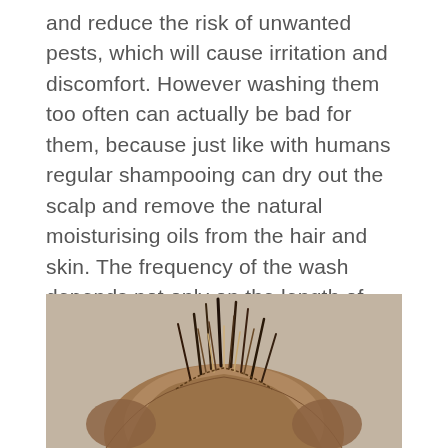and reduce the risk of unwanted pests, which will cause irritation and discomfort. However washing them too often can actually be bad for them, because just like with humans regular shampooing can dry out the scalp and remove the natural moisturising oils from the hair and skin. The frequency of the wash depends not only on the length of your dog's hair, but also how active they are outdoors.
[Figure (photo): Close-up photo of the top of a scruffy dog's head with messy, spiky fur, viewed from above. The dog's fur is brown, tan, and grey/black. Background is a warm beige/tan color.]